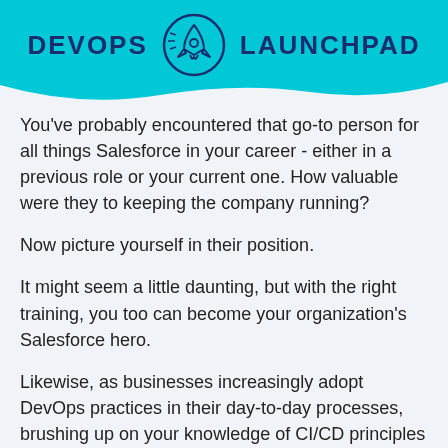[Figure (logo): DevOps Launchpad logo with rocket icon in circle, teal background header]
You've probably encountered that go-to person for all things Salesforce in your career - either in a previous role or your current one. How valuable were they to keeping the company running?
Now picture yourself in their position.
It might seem a little daunting, but with the right training, you too can become your organization's Salesforce hero.
Likewise, as businesses increasingly adopt DevOps practices in their day-to-day processes, brushing up on your knowledge of CI/CD principles as well as your Salesforce skills will